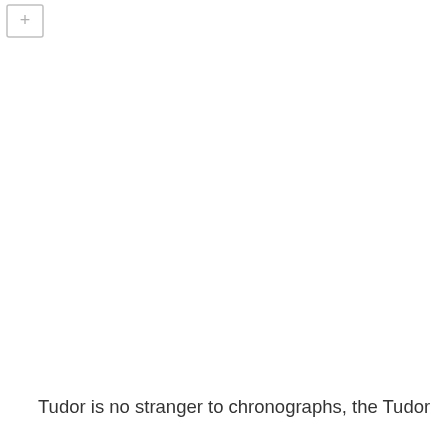[Figure (other): Small UI button with a plus (+) symbol inside a square outline, positioned at the top-left corner of the page]
Tudor is no stranger to chronographs, the Tudor